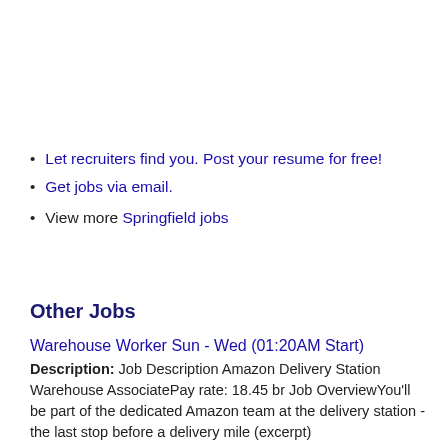Let recruiters find you. Post your resume for free!
Get jobs via email.
View more Springfield jobs
Other Jobs
Warehouse Worker Sun - Wed (01:20AM Start)
Description: Job Description Amazon Delivery Station Warehouse AssociatePay rate: 18.45 br Job OverviewYou'll be part of the dedicated Amazon team at the delivery station - the last stop before a delivery mile (excerpt)